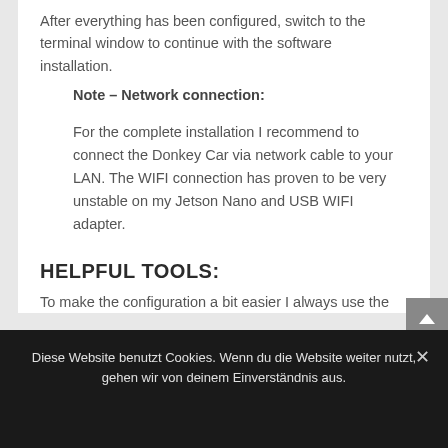After everything has been configured, switch to the terminal window to continue with the software installation.
Note – Network connection:
For the complete installation I recommend to connect the Donkey Car via network cable to your LAN. The WIFI connection has proven to be very unstable on my Jetson Nano and USB WIFI adapter.
HELPFUL TOOLS:
To make the configuration a bit easier I always use the
Diese Website benutzt Cookies. Wenn du die Website weiter nutzt, gehen wir von deinem Einverständnis aus.